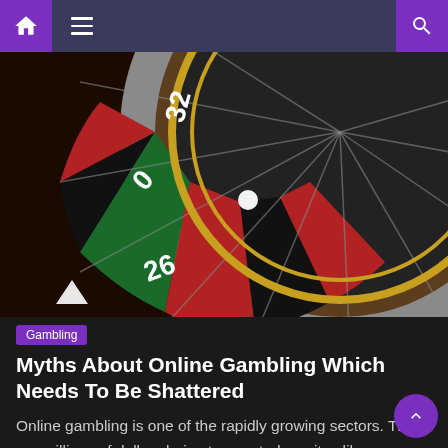Navigation bar with home, menu, and search icons
[Figure (photo): Close-up of a roulette wheel showing numbers including 26, 30, 32 in red and black sections, with a white ball resting on the wheel. Gold and dark wood frame visible.]
Gambling
Myths About Online Gambling Which Needs To Be Shattered
Online gambling is one of the rapidly growing sectors. There are millions of dollars being transacted on sites like https://mukacasino.id each day. Still, several myths prevail in the ecosystem that people tend to believe. Some of the most common myths are, Myth #1 Online Gambling is Rigged Whenever there is a discussion about online...